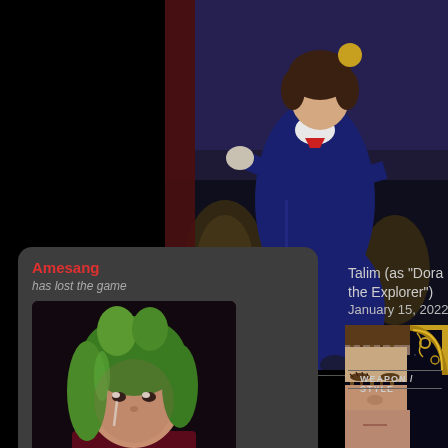[Figure (screenshot): Video game screenshot showing a female character in dark blue sailor-style outfit with arms outstretched, in an ornate interior setting]
[Figure (screenshot): User avatar thumbnail showing a character with green hair]
Amesang
has lost the game
Talim (as "Dora the Explorer")
January 15, 2022 5:00
WEAPON / STYLE
[Figure (screenshot): Close-up face shot of a video game character with brown hair and closed eyes, with ornate gold frame decoration visible]